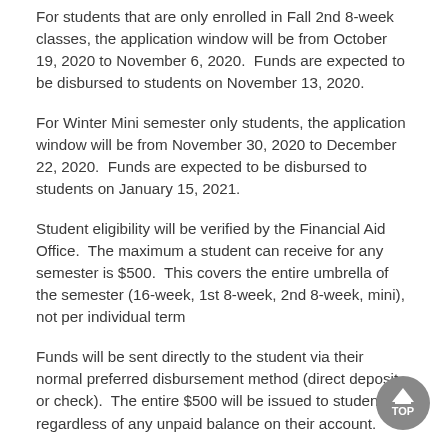For students that are only enrolled in Fall 2nd 8-week classes, the application window will be from October 19, 2020 to November 6, 2020.  Funds are expected to be disbursed to students on November 13, 2020.
For Winter Mini semester only students, the application window will be from November 30, 2020 to December 22, 2020.  Funds are expected to be disbursed to students on January 15, 2021.
Student eligibility will be verified by the Financial Aid Office.  The maximum a student can receive for any semester is $500.  This covers the entire umbrella of the semester (16-week, 1st 8-week, 2nd 8-week, mini), not per individual term
Funds will be sent directly to the student via their normal preferred disbursement method (direct deposit or check).  The entire $500 will be issued to students regardless of any unpaid balance on their account.
If additional funding is...